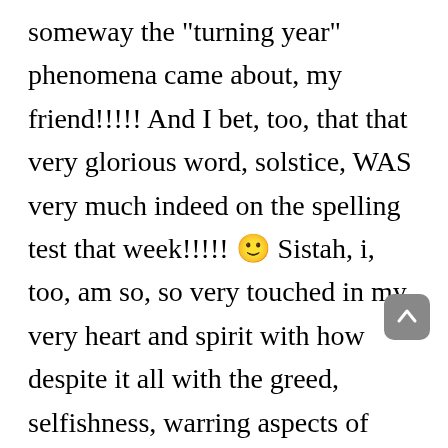someway the "turning year" phenomena came about, my friend!!!!! And I bet, too, that that very glorious word, solstice, WAS very much indeed on the spelling test that week!!!!! 🙂 Sistah, i, too, am so, so very touched in my very heart and spirit with how despite it all with the greed, selfishness, warring aspects of much of humankind that we all can still have that grandly great and sweet, child-like wonder and curiosity, Patricia!!!! WOW, Patricia, what sharply astute and acute insight here by absolutely AWESOME YOU, Patricia!!!!! 🙂 <3 WOW, Patricia what a very fitting contribution here by absolutely FANTASTIC YOU with the